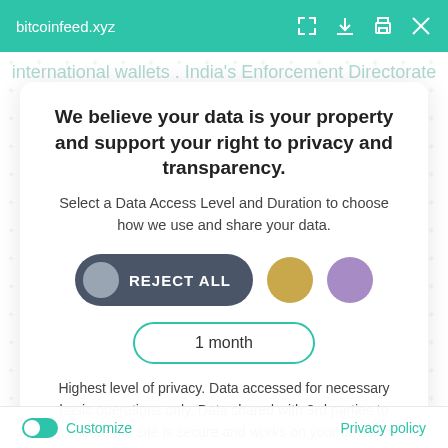bitcoinfeed.xyz
international wallets . India s Enforcement Directorate
We believe your data is your property and support your right to privacy and transparency.
Select a Data Access Level and Duration to choose how we use and share your data.
[Figure (other): REJECT ALL toggle button (dark pill shape with grey circle icon and white text), followed by a gold circle button and a purple circle button]
1 month
Highest level of privacy. Data accessed for necessary basic operations only. Data shared with 3rd parties to ensure the site is secure and works on your device
Save my preferences
learn warns users to avoid using site
Customize
Privacy policy